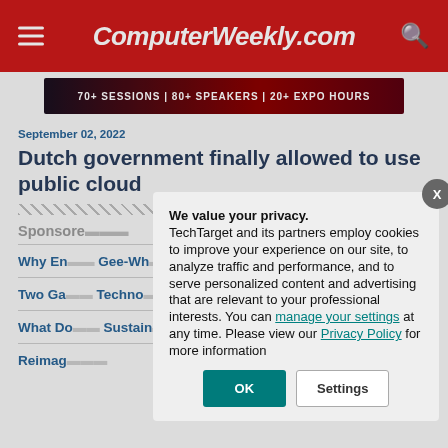ComputerWeekly.com
[Figure (screenshot): Banner advertisement strip showing '70+ SESSIONS | 80+ SPEAKERS | 20+ EXPO HOURS' on dark red background]
September 02, 2022
Dutch government finally allowed to use public cloud
Sponsore...
Why En... Gee-Wh...
Two Ga... Techno...
What Do... Sustain...
Reimag...
We value your privacy. TechTarget and its partners employ cookies to improve your experience on our site, to analyze traffic and performance, and to serve personalized content and advertising that are relevant to your professional interests. You can manage your settings at any time. Please view our Privacy Policy for more information